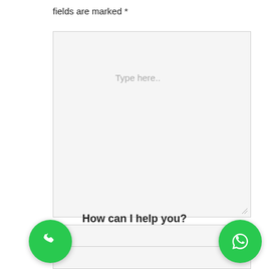fields are marked *
[Figure (screenshot): A large text area input field with placeholder text 'Type here..' and a resize handle in the bottom right corner]
Name*
How can I help you?
[Figure (illustration): Green circular phone call button with white phone handset icon]
[Figure (illustration): Green circular WhatsApp button with white WhatsApp speech bubble icon]